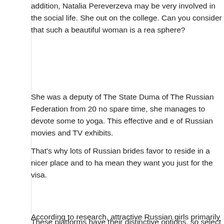addition, Natalia Pereverzeva may be very involved in the social life. She out on the college. Can you consider that such a beautiful woman is a rea sphere?
She was a deputy of The State Duma of The Russian Federation from 20 no spare time, she manages to devote some to yoga. This effective and e of Russian movies and TV exhibits.
That's why lots of Russian brides favor to reside in a nicer place and to ha mean they want you just for the visa.
According to research, attractive Russian girls primarily want to get marrie Italians. In the Russian Far East, Chinese men typically marry scorching R joyful to marry these women since these females have a wonderful look, b outstanding moral qualities.
These platforms have their distinctive options, so select correctly. If you m able to strive using critical portals. For spicy relationship that won't last to frivolous platforms. Don't be overexcited, however at the same time consi